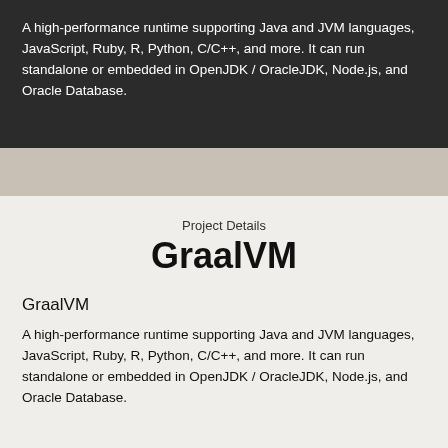A high-performance runtime supporting Java and JVM languages, JavaScript, Ruby, R, Python, C/C++, and more. It can run standalone or embedded in OpenJDK / OracleJDK, Node.js, and Oracle Database.
Project Details
GraalVM
GraalVM
A high-performance runtime supporting Java and JVM languages, JavaScript, Ruby, R, Python, C/C++, and more. It can run standalone or embedded in OpenJDK / OracleJDK, Node.js, and Oracle Database.